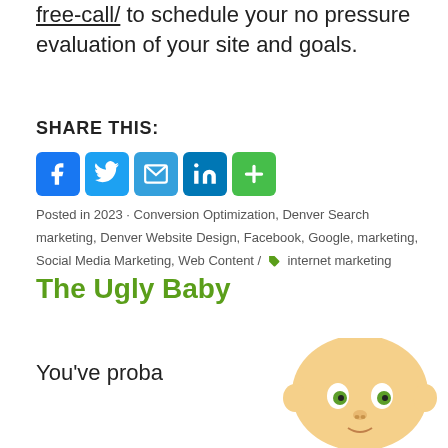free-call/ to schedule your no pressure evaluation of your site and goals.
SHARE THIS:
[Figure (infographic): Row of social share buttons: Facebook (blue), Twitter (blue), Email (blue), LinkedIn (blue), Add/Plus (green)]
Posted in 2023 · Conversion Optimization, Denver Search marketing, Denver Website Design, Facebook, Google, marketing, Social Media Marketing, Web Content / internet marketing
The Ugly Baby
You've proba